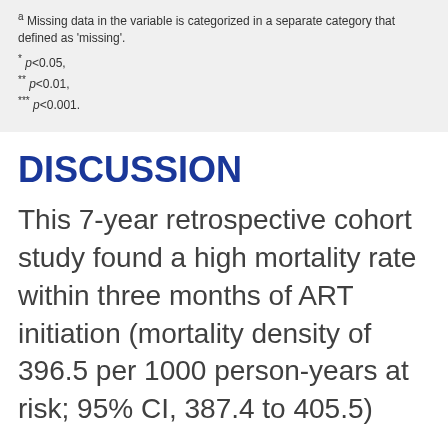a Missing data in the variable is categorized in a separate category that defined as 'missing'. * p<0.05, ** p<0.01, *** p<0.001.
DISCUSSION
This 7-year retrospective cohort study found a high mortality rate within three months of ART initiation (mortality density of 396.5 per 1000 person-years at risk; 95% CI, 387.4 to 405.5)